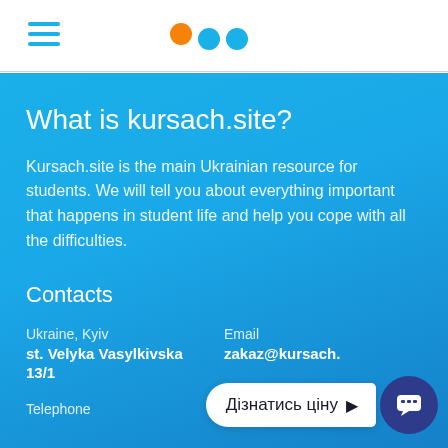Navigation header with hamburger menu and logo dots
What is kursach.site?
Kursach.site is the main Ukrainian resource for students. We will tell you about everything important that happens in student life and help you cope with all the difficulties.
Contacts
Ukraine, Kyiv
st. Velyka Vasylkivska 13/1
Email
zakaz@kursach.
Telephone
Working mode
Дізнатись ціну